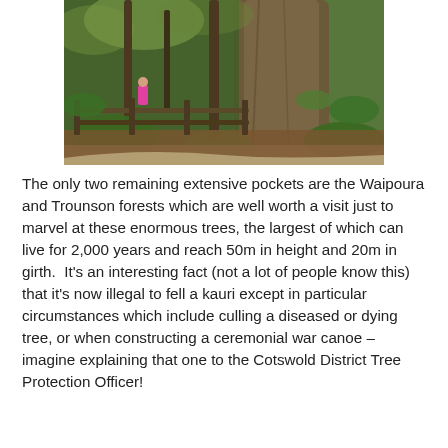[Figure (photo): A photograph of a large kauri tree in a forest. A wooden rail fence surrounds the base of the massive tree trunk. Lush green ferns and forest undergrowth are visible. A person wearing pink is visible in the background on a path.]
The only two remaining extensive pockets are the Waipoura and Trounson forests which are well worth a visit just to marvel at these enormous trees, the largest of which can live for 2,000 years and reach 50m in height and 20m in girth.  It's an interesting fact (not a lot of people know this) that it's now illegal to fell a kauri except in particular circumstances which include culling a diseased or dying tree, or when constructing a ceremonial war canoe – imagine explaining that one to the Cotswold District Tree Protection Officer!